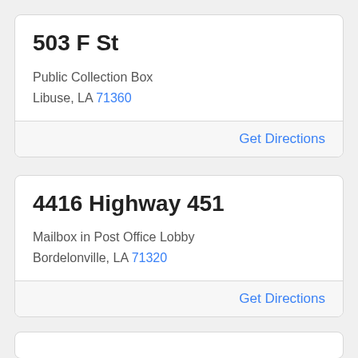503 F St
Public Collection Box
Libuse, LA 71360
Get Directions
4416 Highway 451
Mailbox in Post Office Lobby
Bordelonville, LA 71320
Get Directions